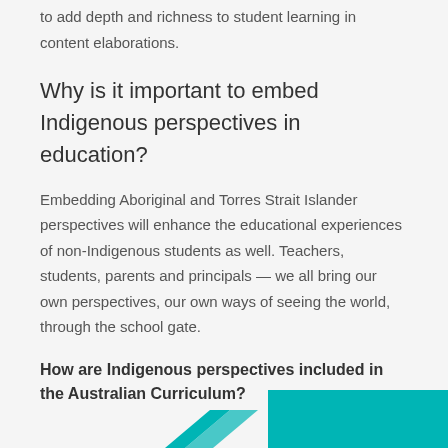to add depth and richness to student learning in content elaborations.
Why is it important to embed Indigenous perspectives in education?
Embedding Aboriginal and Torres Strait Islander perspectives will enhance the educational experiences of non-Indigenous students as well. Teachers, students, parents and principals — we all bring our own perspectives, our own ways of seeing the world, through the school gate.
How are Indigenous perspectives included in the Australian Curriculum?
[Figure (illustration): Teal decorative shapes at the bottom of the page]